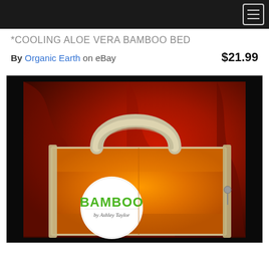Navigation bar with hamburger menu icon
*COOLING ALOE VERA BAMBOO BED
By Organic Earth  on eBay   $21.99
[Figure (photo): Product photo of an orange bamboo bed package with a carry handle and a circular white logo reading 'BAMBOO by Ashley Taylor', set against a dramatic red background with black borders.]